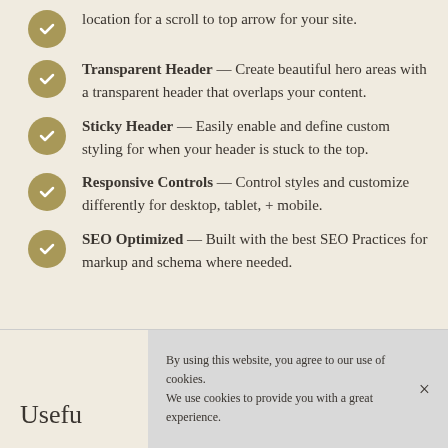location for a scroll to top arrow for your site.
Transparent Header — Create beautiful hero areas with a transparent header that overlaps your content.
Sticky Header — Easily enable and define custom styling for when your header is stuck to the top.
Responsive Controls — Control styles and customize differently for desktop, tablet, + mobile.
SEO Optimized — Built with the best SEO Practices for markup and schema where needed.
Usefu
By using this website, you agree to our use of cookies. We use cookies to provide you with a great experience.